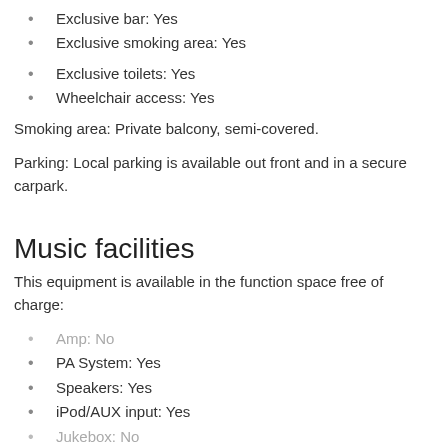Exclusive bar: Yes
Exclusive smoking area: Yes
Exclusive toilets: Yes
Wheelchair access: Yes
Smoking area: Private balcony, semi-covered.
Parking: Local parking is available out front and in a secure carpark.
Music facilities
This equipment is available in the function space free of charge:
Amp: No
PA System: Yes
Speakers: Yes
iPod/AUX input: Yes
Jukebox: No
Dance floor: Yes, proper dance floor
Mixer: No